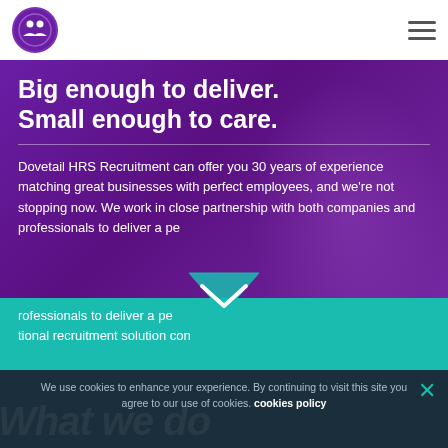Dovetail HRS Recruitment - Logo and navigation
Big enough to deliver. Small enough to care.
Dovetail HRS Recruitment can offer you 30 years of experience matching great businesses with perfect employees, and we're not stopping now. We work in close partnership with both companies and professionals to deliver a personal recruitment solution con...
We use cookies to enhance your experience. By continuing to visit this site you agree to our use of cookies. cookies policy